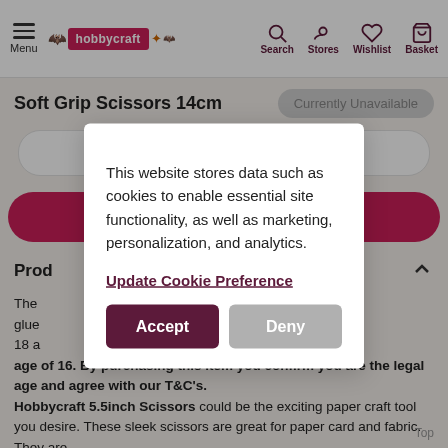Menu | hobbycraft | Search | Stores | Wishlist | Basket
Soft Grip Scissors 14cm
Currently Unavailable
Add To Wishlist
Product Description
This website stores data such as cookies to enable essential site functionality, as well as marketing, personalization, and analytics.
Update Cookie Preference
Accept
Deny
The ... nts, glue ... of 18 a... the age of 16. By purchasing this item you confirm you are the legal age and agree with our T&C's. Hobbycraft 5.5inch Scissors could be the exciting paper craft tool you desire. These sleek scissors are great for paper card and fabric. They are lightweight and have a soft grip handle for comfort